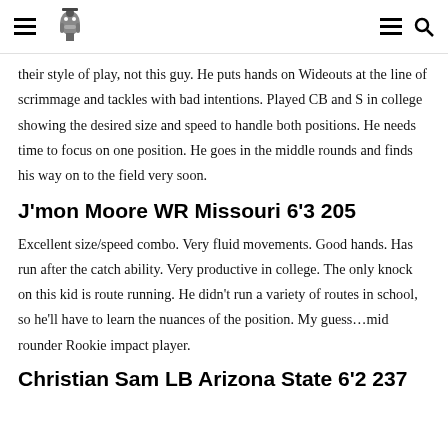[navigation header with logo]
their style of play, not this guy. He puts hands on Wideouts at the line of scrimmage and tackles with bad intentions. Played CB and S in college showing the desired size and speed to handle both positions. He needs time to focus on one position. He goes in the middle rounds and finds his way on to the field very soon.
J'mon Moore WR Missouri 6'3 205
Excellent size/speed combo. Very fluid movements. Good hands. Has run after the catch ability. Very productive in college. The only knock on this kid is route running. He didn't run a variety of routes in school, so he'll have to learn the nuances of the position. My guess…mid rounder Rookie impact player.
Christian Sam LB Arizona State 6'2 237